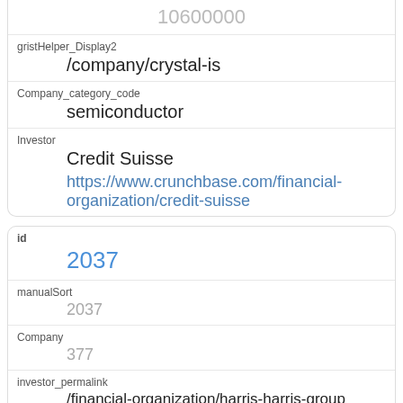| gristHelper_Display2 | /company/crystal-is |
| Company_category_code | semiconductor |
| Investor | Credit Suisse
https://www.crunchbase.com/financial-organization/credit-suisse |
| id | 2037 |
| manualSort | 2037 |
| Company | 377 |
| investor_permalink | /financial-organization/harris-harris-group |
| investor_name | Harris & Harris Group |